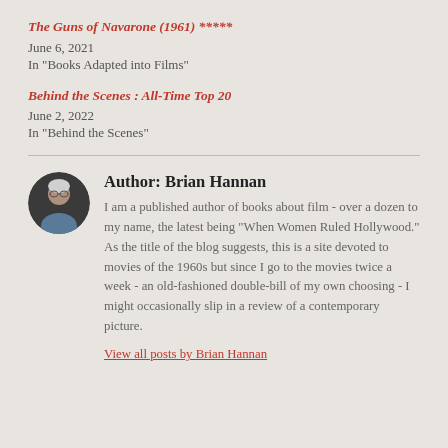The Guns of Navarone (1961) *****
June 6, 2021
In "Books Adapted into Films"
Behind the Scenes : All-Time Top 20
June 2, 2022
In "Behind the Scenes"
Author: Brian Hannan
I am a published author of books about film - over a dozen to my name, the latest being "When Women Ruled Hollywood." As the title of the blog suggests, this is a site devoted to movies of the 1960s but since I go to the movies twice a week - an old-fashioned double-bill of my own choosing - I might occasionally slip in a review of a contemporary picture.
View all posts by Brian Hannan